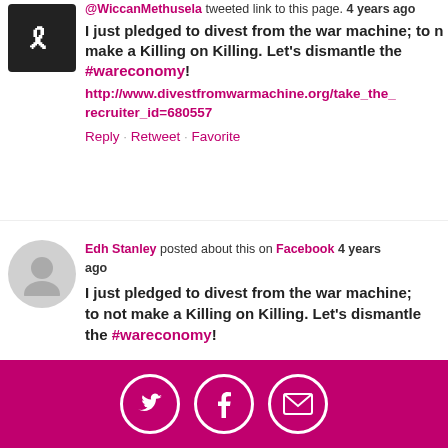@WiccanMethusela tweeted link to this page. 4 years ago
I just pledged to divest from the war machine; to not make a Killing on Killing. Let's dismantle the #wareconomy! http://www.divestfromwarmachine.org/take_the_... recruiter_id=680557
Reply · Retweet · Favorite
Edh Stanley posted about this on Facebook 4 years ago
I just pledged to divest from the war machine; to not make a Killing on Killing. Let's dismantle the #wareconomy!
[Figure (infographic): Footer bar with Twitter, Facebook, and email share icons on magenta/pink background]